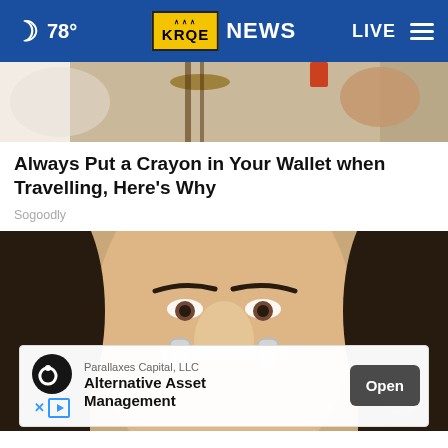78° KRQE NEWS LIVE
[Figure (photo): Partial photo at top of page showing a violin or musical instrument and a person's hands]
Always Put a Crayon in Your Wallet when Travelling, Here's Why
Sogoodly
[Figure (photo): Close-up photo of a woman's face with dark hair and dark eyes, with a nasal cannula or tube near her nose]
Parallaxes Capital, LLC Alternative Asset Management
Open